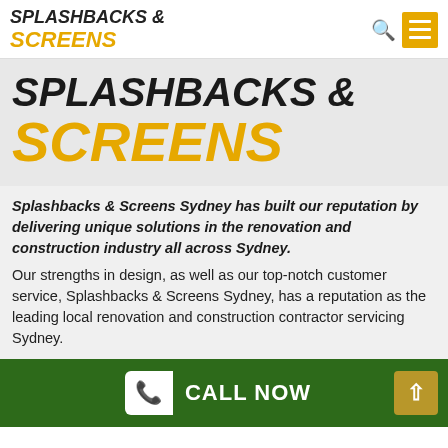SPLASHBACKS & SCREENS
SPLASHBACKS & SCREENS
Splashbacks & Screens Sydney has built our reputation by delivering unique solutions in the renovation and construction industry all across Sydney.
Our strengths in design, as well as our top-notch customer service, Splashbacks & Screens Sydney, has a reputation as the leading local renovation and construction contractor servicing Sydney.
CALL NOW